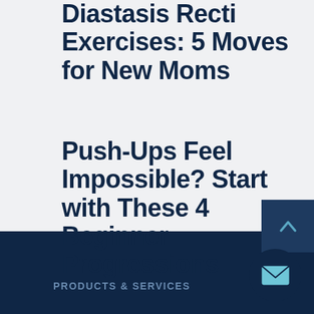Diastasis Recti Exercises: 5 Moves for New Moms
Push-Ups Feel Impossible? Start with These 4 Beginner Progressions
[Figure (illustration): Dark navy scroll-to-top button with a light blue upward chevron arrow]
[Figure (illustration): Circular dark navy email/envelope button with light blue envelope icon]
PRODUCTS & SERVICES